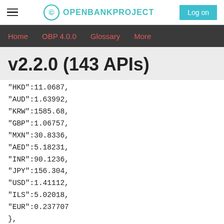OPENBANKPROJECT — Log on
Home   OBP 4.0.0   Glossary   More
v2.2.0 (143 APIs)
"HKD":11.0687,
"AUD":1.63992,
"KRW":1585.68,
"GBP":1.06757,
"MXN":30.8336,
"AED":5.18231,
"INR":90.1236,
"JPY":156.304,
"USD":1.41112,
"ILS":5.02018,
"EUR":0.237707
},
"GBP":{
"XAF":762.826,
"KWT":...